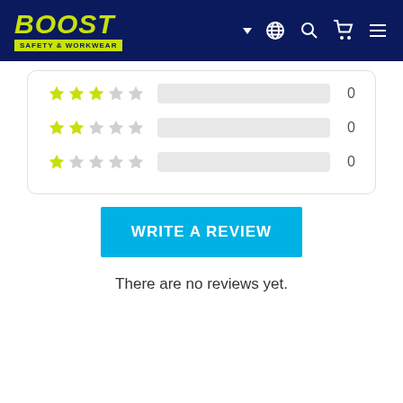BOOST SAFETY & WORKWEAR
[Figure (other): Star rating rows: 3-star row with empty bar and count 0; 2-star row with empty bar and count 0; 1-star row with empty bar and count 0]
WRITE A REVIEW
There are no reviews yet.